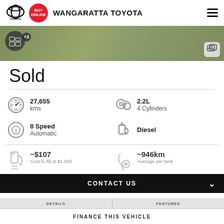WANGARATTA TOYOTA
[Figure (photo): Vehicle listing image showing grass/outdoor background with camera/gallery overlay icons and +3 badge]
Sold
27,655 kms
2.2L 4 Cylinders
8 Speed Automatic
Diesel
~$107
Cost to fill at $1.50/l
~946km
Average per tank
CONTACT US
DETAILS
FEATURES
FINANCE THIS VEHICLE